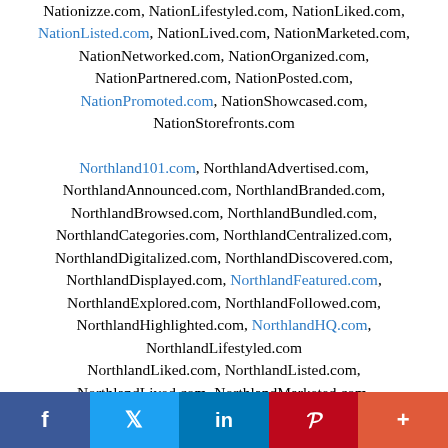Nationizze.com, NationLifestyled.com, NationLiked.com, NationListed.com, NationLived.com, NationMarketed.com, NationNetworked.com, NationOrganized.com, NationPartnered.com, NationPosted.com, NationPromoted.com, NationShowcased.com, NationStorefronts.com
Northland101.com, NorthlandAdvertised.com, NorthlandAnnounced.com, NorthlandBranded.com, NorthlandBrowsed.com, NorthlandBundled.com, NorthlandCategories.com, NorthlandCentralized.com, NorthlandDigitalized.com, NorthlandDiscovered.com, NorthlandDisplayed.com, NorthlandFeatured.com, NorthlandExplored.com, NorthlandFollowed.com, NorthlandHighlighted.com, NorthlandHQ.com, NorthlandLifestyled.com NorthlandLiked.com, NorthlandListed.com, NorthlandLived.com, NorthlandMarketed.com, NorthlandNetworked.com, NorthlandOrganized.com
f  Twitter  in  Pinterest  +